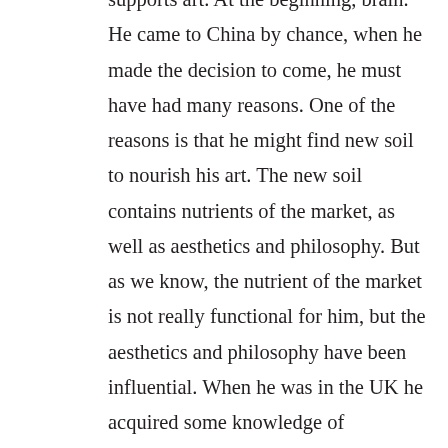supports art. At the beginning, brain. He came to China by chance, when he made the decision to come, he must have had many reasons. One of the reasons is that he might find new soil to nourish his art. The new soil contains nutrients of the market, as well as aesthetics and philosophy. But as we know, the nutrient of the market is not really functional for him, but the aesthetics and philosophy have been influential. When he was in the UK he acquired some knowledge of traditional Chinese culture and art through various sources, but this kind of understanding is superficial. It is just this lack of depth in understanding that became his inner motivation in coming to China. Nowadays, the world is far different from what it was in Gauguin's time; we cannot simply discuss the meaning of his coming to China through the meaning of his leaving Europe. Oliver is different from Gauguin because he wasn't considering the destiny of western culture, but the condition of existence as a human being, and the